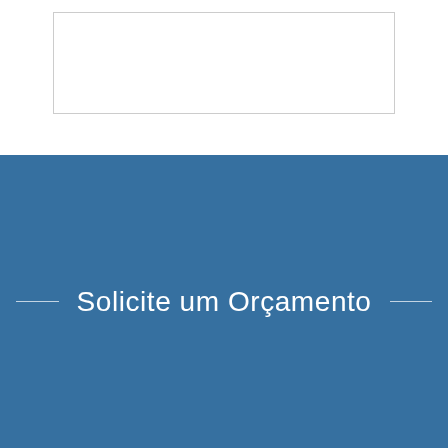[Figure (other): White rectangular box with light gray border on white background, representing a content placeholder or form field area.]
Solicite um Orçamento